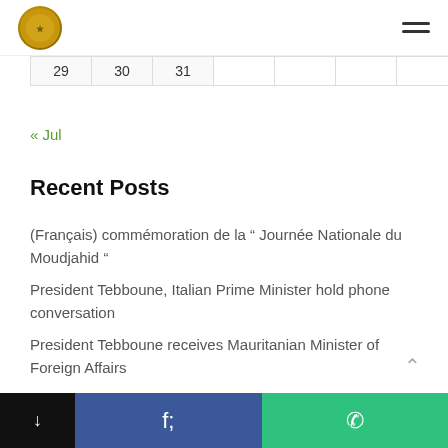[Logo] [Hamburger menu]
| 29 | 30 | 31 |  |  |  |  |
« Jul
Recent Posts
(Français) commémoration de la “ Journée Nationale du Moudjahid “
President Tebboune, Italian Prime Minister hold phone conversation
President Tebboune receives Mauritanian Minister of Foreign Affairs
President Tebboune receives Nigerian Petroleum